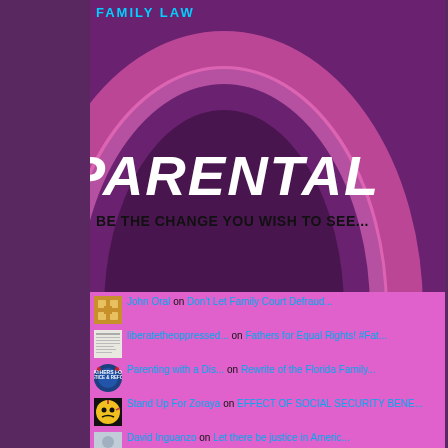FAMILY LAW
[Figure (illustration): Dark purple background with pink/magenta arch design and the word PARENTAL in large white bold italic text]
BE THE CHANGE YOU WISH TO SEE...
John Oral on Don't Let Family Court Defraud...
liberatetheoppressed... on Fathers for Equal Rights! #Fat...
Parenting with a Dis... on Rewrite of the Florida Family...
Stand Up For Zoraya on EFFECT OF SOCIAL SECURITY BENE...
David Inguanzo on Let there be justice in Americ...
Dominic on Does Your Divorce or Family Co...
Leonor Arango on Non Payment of Child Support l...